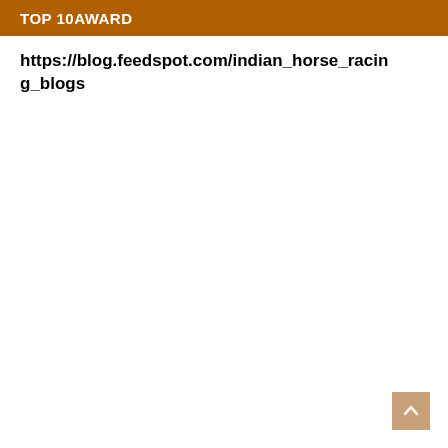TOP 10 AWARD
https://blog.feedspot.com/indian_horse_racing_blogs